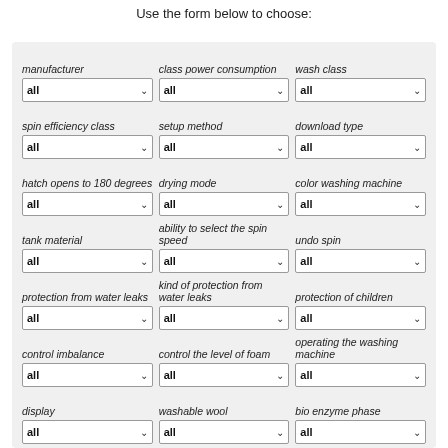Use the form below to choose:
manufacturer
class power consumption
wash class
spin efficiency class
setup method
download type
hatch opens to 180 degrees
drying mode
color washing machine
tank material
ability to select the spin speed
undo spin
protection from water leaks
kind of protection from water leaks
protection of children
control imbalance
control the level of foam
operating the washing machine
display
washable wool
bio enzyme phase
timer
special washing programs
additionally